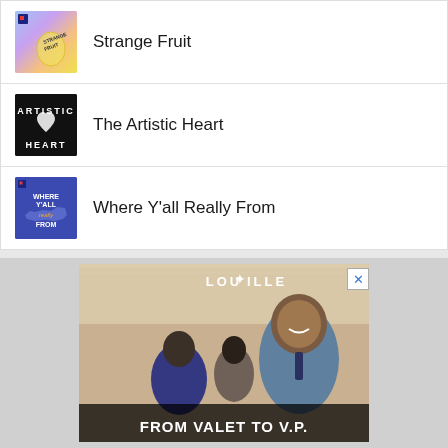Strange Fruit
The Artistic Heart
Where Y'all Really From
[Figure (photo): Louisville advertisement: FROM VALET TO V.P. with a smiling man in a suit and other people in background, Louisville logo at top]